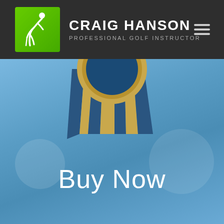[Figure (screenshot): Website header bar for Craig Hanson Professional Golf Instructor with dark background, green logo box with golfer silhouette, white bold text 'CRAIG HANSON' and subtitle 'PROFESSIONAL GOLF INSTRUCTOR', and hamburger menu icon on the right.]
[Figure (illustration): Blue sky background with a large award medal/ribbon visible at top center — gold circular border with blue and gold striped ribbon tails hanging down. Below the medal is large white text reading 'Buy Now'.]
Buy Now